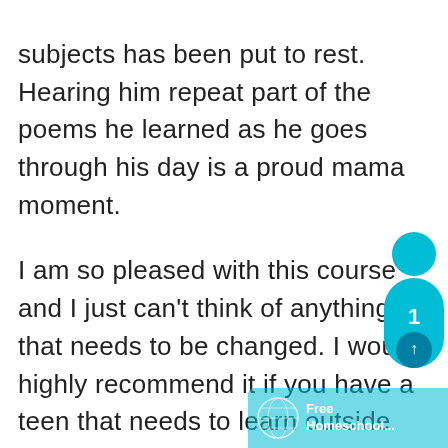subjects has been put to rest. Hearing him repeat part of the poems he learned as he goes through his day is a proud mama moment.
I am so pleased with this course and I just can't think of anything that needs to be changed. I would highly recommend it if you have a teen that needs to learn outside the box, but don't have time to prepare a unit study.
[Figure (infographic): Social share widget showing a teal/cyan person icon with the number 1, and a share button below]
[Figure (logo): Free Homeschool... logo overlay with a globe icon on a semi-transparent teal background]